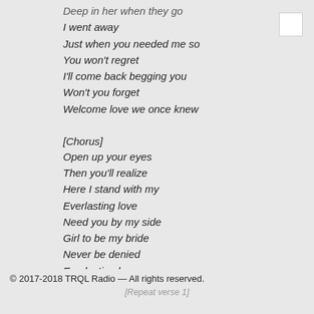Deep in her when they go
I went away
Just when you needed me so
You won't regret
I'll come back begging you
Won't you forget
Welcome love we once knew
[Chorus]
Open up your eyes
Then you'll realize
Here I stand with my
Everlasting love
Need you by my side
Girl to be my bride
Never be denied
Everlasting love
© 2017-2018 TRQL Radio — All rights reserved.
[Repeat verse 1]